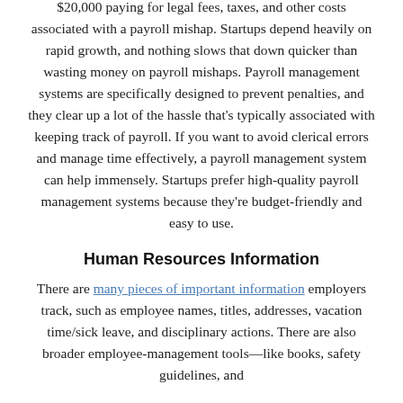$20,000 paying for legal fees, taxes, and other costs associated with a payroll mishap. Startups depend heavily on rapid growth, and nothing slows that down quicker than wasting money on payroll mishaps. Payroll management systems are specifically designed to prevent penalties, and they clear up a lot of the hassle that's typically associated with keeping track of payroll. If you want to avoid clerical errors and manage time effectively, a payroll management system can help immensely. Startups prefer high-quality payroll management systems because they're budget-friendly and easy to use.
Human Resources Information
There are many pieces of important information employers track, such as employee names, titles, addresses, vacation time/sick leave, and disciplinary actions. There are also broader employee-management tools—like books, safety guidelines, and